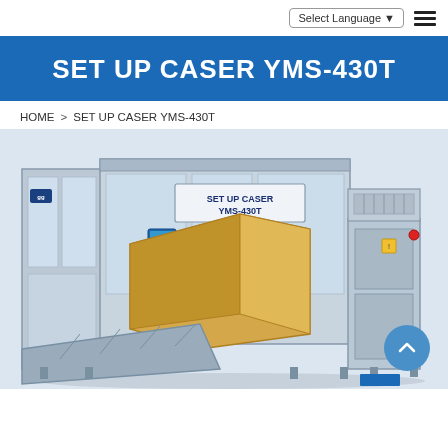Select Language  ☰
SET UP CASER YMS-430T
HOME > SET UP CASER YMS-430T
[Figure (photo): Industrial SET UP CASER YMS-430T machine with transparent safety guards, cardboard box being processed, conveyor system, and control panel. Label on machine reads SET UP CASER YMS-430T.]